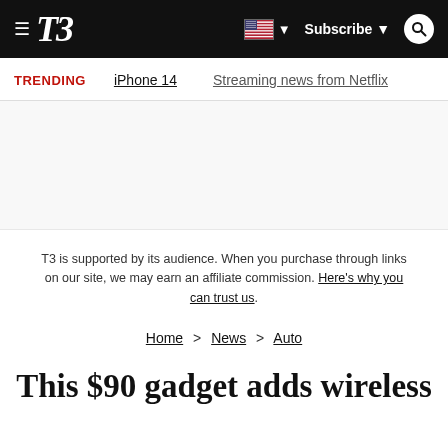T3 | Subscribe
TRENDING  iPhone 14  Streaming news from Netflix
T3 is supported by its audience. When you purchase through links on our site, we may earn an affiliate commission. Here's why you can trust us.
Home > News > Auto
This $90 gadget adds wireless